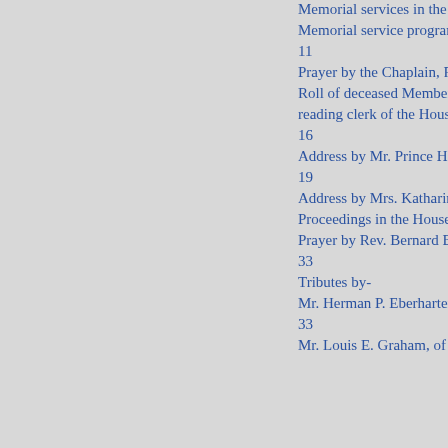Memorial services in the House:
Memorial service program.
11
Prayer by the Chaplain, Rev. Ber
Roll of deceased Members, read
reading clerk of the House---
16
Address by Mr. Prince H. Presto
19
Address by Mrs. Katharine St. G
Proceedings in the House:
Prayer by Rev. Bernard Braskam
33
Tributes by-
Mr. Herman P. Eberharter, of Pe
33
Mr. Louis E. Graham, of Pennsy